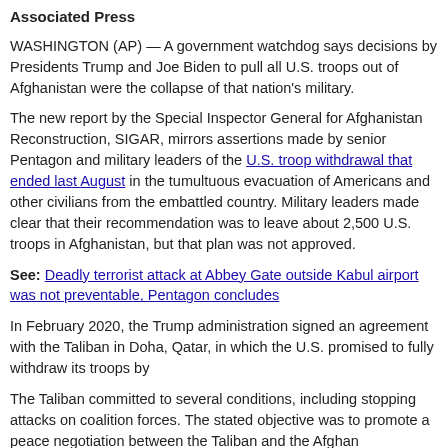Associated Press
WASHINGTON (AP) — A government watchdog says decisions by Presidents Trump and Joe Biden to pull all U.S. troops out of Afghanistan were the collapse of that nation's military.
The new report by the Special Inspector General for Afghanistan Reconstruction, SIGAR, mirrors assertions made by senior Pentagon and military leaders of the U.S. troop withdrawal that ended last August in the tumultuous evacuation of Americans and other civilians from the embattled country. Military leaders made clear that their recommendation was to leave about 2,500 U.S. troops in Afghanistan, but that plan was not approved.
See: Deadly terrorist attack at Abbey Gate outside Kabul airport was not preventable, Pentagon concludes
In February 2020, the Trump administration signed an agreement with the Taliban in Doha, Qatar, in which the U.S. promised to fully withdraw its troops by
The Taliban committed to several conditions, including stopping attacks on coalition forces. The stated objective was to promote a peace negotiation between the Taliban and the Afghan government, but that diplomatic effort never gained traction through the end of the Trump presidency.
From the archives (October 2020): Pentagon blindsided by Trump's troop withdrawal assertion